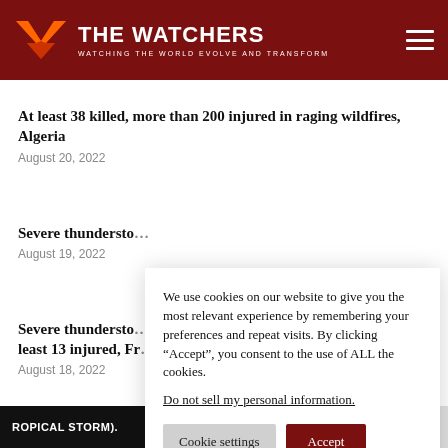THE WATCHERS — WATCHING THE WORLD EVOLVE AND TRANSFORM
At least 38 killed, more than 200 injured in raging wildfires, Algeria
August 20, 2022
Severe thundersto...
August 19, 2022
Severe thundersto... least 13 injured, Fr...
August 18, 2022
We use cookies on our website to give you the most relevant experience by remembering your preferences and repeat visits. By clicking “Accept”, you consent to the use of ALL the cookies.
Do not sell my personal information.
ROPICAL STORM).    GREEN EARTHQUAKE